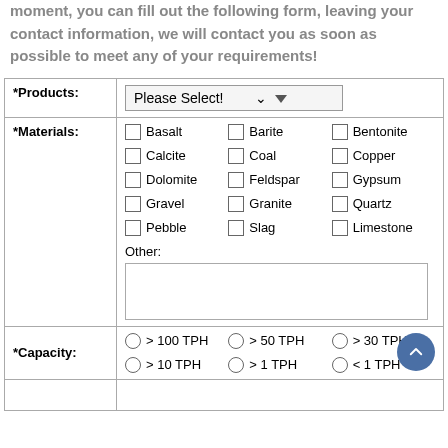moment, you can fill out the following form, leaving your contact information, we will contact you as soon as possible to meet any of your requirements!
| *Products: | Please Select! |
| *Materials: | Basalt, Barite, Bentonite, Calcite, Coal, Copper, Dolomite, Feldspar, Gypsum, Gravel, Granite, Quartz, Pebble, Slag, Limestone, Other: [textarea] |
| *Capacity: | > 100 TPH, > 50 TPH, > 30 TPH, > 10 TPH, > 1 TPH, < 1 TPH |